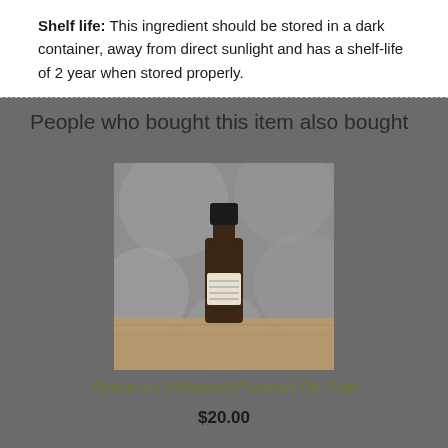Shelf life: This ingredient should be stored in a dark container, away from direct sunlight and has a shelf-life of 2 year when stored properly.
People who bought this item also bought
[Figure (photo): A small dark amber essential oil bottle with a black cap, sitting on a wooden surface with a floral/botanical background. Label on bottle is partially visible.]
Rosemary (Morocco) Essential Oil 10ml
$20.00